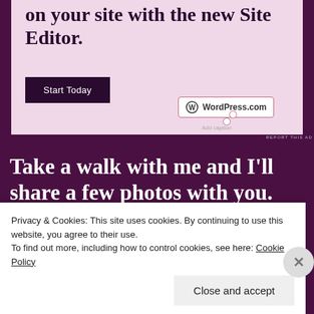[Figure (screenshot): WordPress.com advertisement banner with pink/lavender background showing partial text 'on your site with the new Site Editor.' and a 'Start Today' button, with a WordPress.com logo badge]
REPORT THIS AD
Take a walk with me and I'll share a few photos with you.
Privacy & Cookies: This site uses cookies. By continuing to use this website, you agree to their use.
To find out more, including how to control cookies, see here: Cookie Policy
Close and accept